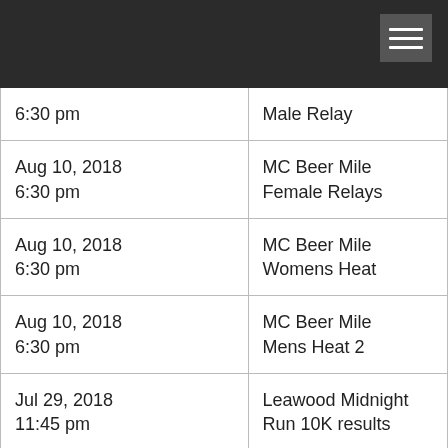| 6:30 pm | Male Relay |
| Aug 10, 2018
6:30 pm | MC Beer Mile
Female Relays |
| Aug 10, 2018
6:30 pm | MC Beer Mile
Womens Heat |
| Aug 10, 2018
6:30 pm | MC Beer Mile
Mens Heat 2 |
| Jul 29, 2018
11:45 pm | Leawood Midnight Run 10K results |